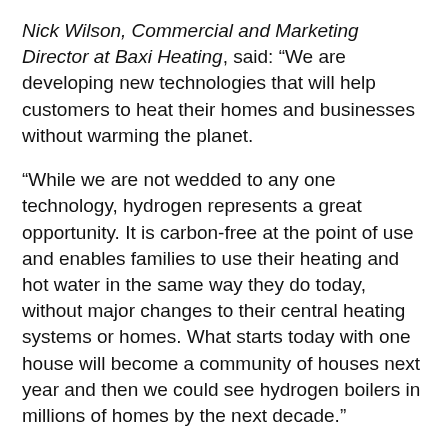Nick Wilson, Commercial and Marketing Director at Baxi Heating, said: “We are developing new technologies that will help customers to heat their homes and businesses without warming the planet.
“While we are not wedded to any one technology, hydrogen represents a great opportunity. It is carbon-free at the point of use and enables families to use their heating and hot water in the same way they do today, without major changes to their central heating systems or homes. What starts today with one house will become a community of houses next year and then we could see hydrogen boilers in millions of homes by the next decade.”
The H100 project aims to convert a community, up to 300 homes in Fife, Scotland from natural gas to Hydrogen next year.
Paul Dunn, Head of Operations at housing provider